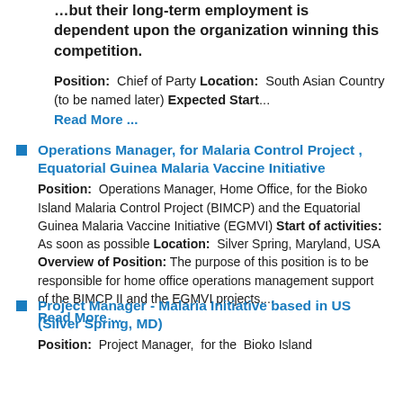…but their long-term employment is dependent upon the organization winning this competition.
Position: Chief of Party Location: South Asian Country (to be named later) Expected Start...
Read More ...
Operations Manager, for Malaria Control Project , Equatorial Guinea Malaria Vaccine Initiative
Position: Operations Manager, Home Office, for the Bioko Island Malaria Control Project (BIMCP) and the Equatorial Guinea Malaria Vaccine Initiative (EGMVI) Start of activities: As soon as possible Location: Silver Spring, Maryland, USA Overview of Position: The purpose of this position is to be responsible for home office operations management support of the BIMCP II and the EGMVI projects,...
Read More ...
Project Manager - Malaria Initiative based in US (Silver Spring, MD)
Position: Project Manager, for the Bioko Island